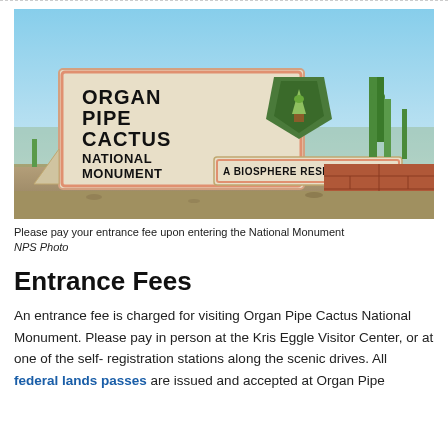[Figure (photo): Entrance sign for Organ Pipe Cactus National Monument with NPS arrowhead logo and 'A Biosphere Reserve' plaque, desert landscape background with cacti and blue sky]
Please pay your entrance fee upon entering the National Monument
NPS Photo
Entrance Fees
An entrance fee is charged for visiting Organ Pipe Cactus National Monument. Please pay in person at the Kris Eggle Visitor Center, or at one of the self- registration stations along the scenic drives. All federal lands passes are issued and accepted at Organ Pipe